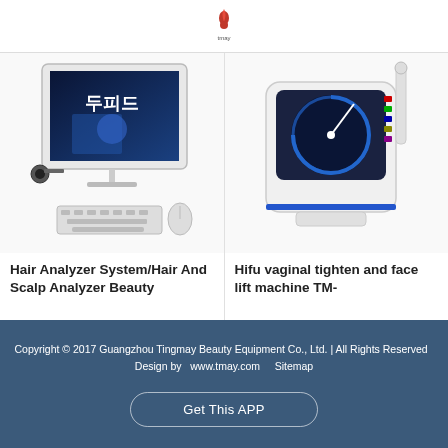[Figure (logo): Tingmay/Tmay company logo — red flame/drop icon with brand name below]
[Figure (photo): Hair Analyzer System computer setup with monitor showing Korean advertisement, webcam, keyboard, and mouse]
Hair Analyzer System/Hair And Scalp Analyzer Beauty
[Figure (photo): Hifu vaginal tighten and face lift machine TM- device with touchscreen and handpiece]
Hifu vaginal tighten and face lift machine TM-
Copyright © 2017 Guangzhou Tingmay Beauty Equipment Co., Ltd. | All Rights Reserved  Design by  www.tmay.com    Sitemap
Get This APP